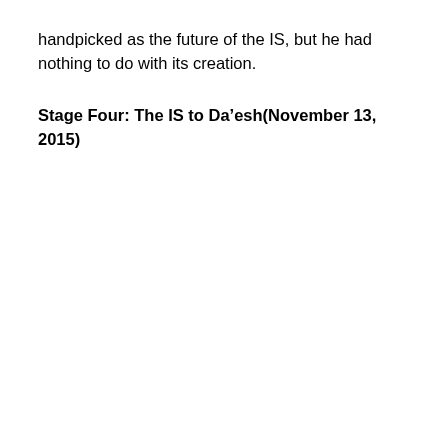handpicked as the future of the IS, but he had nothing to do with its creation.
Stage Four: The IS to Da’esh(November 13, 2015)